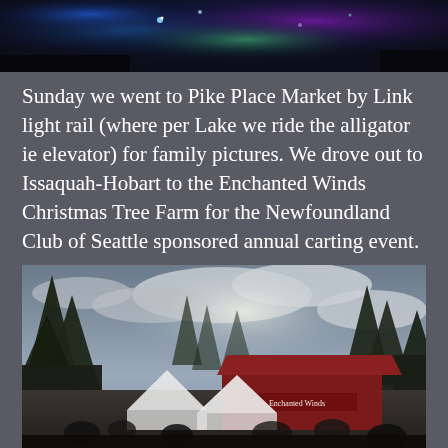[Figure (photo): Top portion of a photo showing colorful lights (blue, purple, green) against a dark background, likely a light show or aurora-like display.]
Sunday we went to Pike Place Market by Link light rail (where per Lake we ride the alligator ie elevator) for family pictures. We drove out to Issaquah-Hobart to the Enchanted Winds Christmas Tree Farm for the Newfoundland Club of Seattle sponsored annual carting event.
[Figure (photo): Outdoor photo of a Christmas tree farm event. Tall evergreen trees silhouetted against a cloudy sky. In the foreground, crowds of people and white event tents are visible, along with a red barn building with a sign reading 'Enchanted Winds'.]